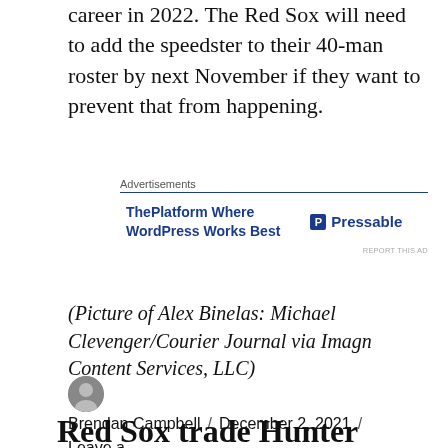career in 2022. The Red Sox will need to add the speedster to their 40-man roster by next November if they want to prevent that from happening.
[Figure (other): Advertisement banner: 'ThePlatform Where WordPress Works Best' with Pressable logo]
(Picture of Alex Binelas: Michael Clevenger/Courier Journal via Imagn Content Services, LLC)
Brendan Campbell / December 2, 2021 / Leave a comment
Red Sox trade Hunter